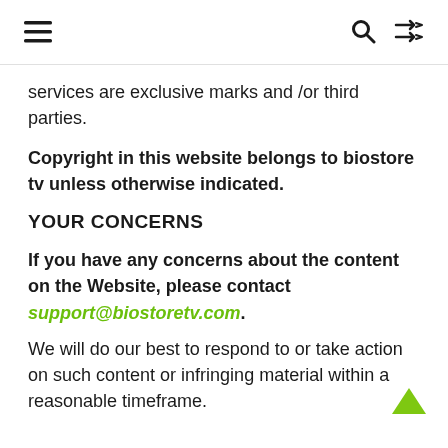≡  🔍  ⇌
services are exclusive marks and /or third parties.
Copyright in this website belongs to biostore tv unless otherwise indicated.
YOUR CONCERNS
If you have any concerns about the content on the Website, please contact support@biostoretv.com.
We will do our best to respond to or take action on such content or infringing material within a reasonable timeframe.